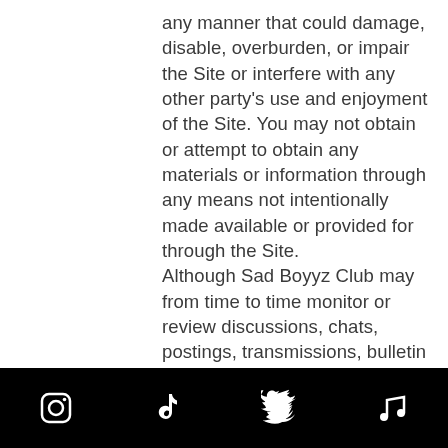any manner that could damage, disable, overburden, or impair the Site or interfere with any other party's use and enjoyment of the Site. You may not obtain or attempt to obtain any materials or information through any means not intentionally made available or provided for through the Site. Although Sad Boyyz Club may from time to time monitor or review discussions, chats, postings, transmissions, bulletin boards, and the like on the Site, Sad Boyyz Club is under no obligation to do so and assumes no responsibility or liability arising from the content of any such locations on the Site nor for any error, defamation, libel, slander, omission, falsehood, obscenity, pornography, profanity, danger, or inaccuracy contained in any information within such locations on the Site. You agree that if you include a link from any other website to the Site, such link shall open in a new browser window. You agree not to link from any other website to this Site in any manner such that the Site, or any
[Instagram] [TikTok] [Twitter] [Music]